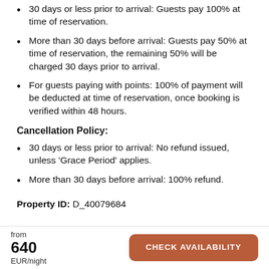30 days or less prior to arrival: Guests pay 100% at time of reservation.
More than 30 days before arrival: Guests pay 50% at time of reservation, the remaining 50% will be charged 30 days prior to arrival.
For guests paying with points: 100% of payment will be deducted at time of reservation, once booking is verified within 48 hours.
Cancellation Policy:
30 days or less prior to arrival: No refund issued, unless ‘Grace Period’ applies.
More than 30 days before arrival: 100% refund.
Property ID: D_40079684
from
640
EUR/night
CHECK AVAILABILITY